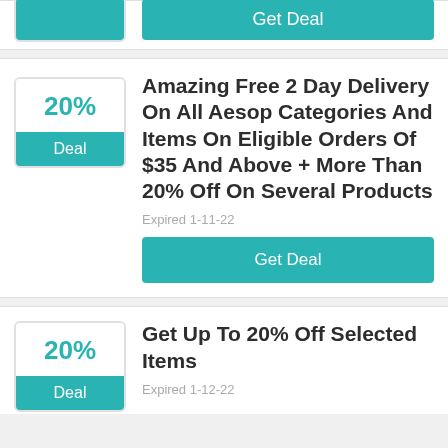[Figure (other): Top partial coupon card with a Get Deal button partially visible]
Amazing Free 2 Day Delivery On All Aesop Categories And Items On Eligible Orders Of $35 And Above + More Than 20% Off On Several Products
Expired 1-11-22
Get Deal
Get Up To 20% Off Selected Items
Expired 1-12-22
Get Deal